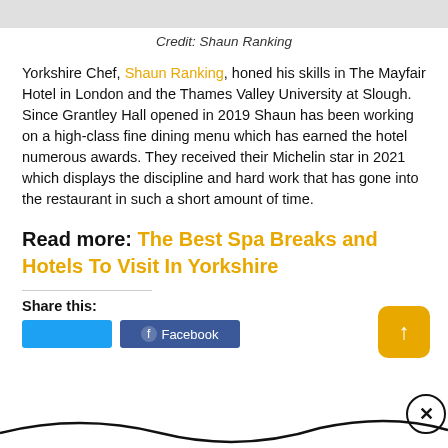[Figure (photo): Top portion of a photo, shown as a grey strip at the top of the page]
Credit: Shaun Ranking
Yorkshire Chef, Shaun Ranking, honed his skills in The Mayfair Hotel in London and the Thames Valley University at Slough. Since Grantley Hall opened in 2019 Shaun has been working on a high-class fine dining menu which has earned the hotel numerous awards. They received their Michelin star in 2021 which displays the discipline and hard work that has gone into the restaurant in such a short amount of time.
Read more: The Best Spa Breaks and Hotels To Visit In Yorkshire
Share this: